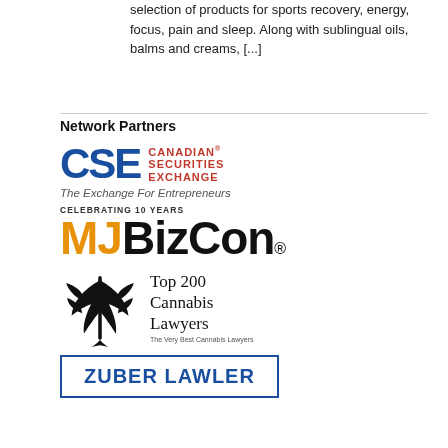selection of products for sports recovery, energy, focus, pain and sleep. Along with sublingual oils, balms and creams, [...]
Network Partners
[Figure (logo): CSE Canadian Securities Exchange logo with tagline 'The Exchange For Entrepreneurs']
[Figure (logo): MJBizCon logo with 'Celebrating 10 Years' text above, MJ in orange and BizCon in black]
[Figure (logo): Top 200 Cannabis Lawyers logo with cannabis leaf graphic and text 'The Very Best Cannabis Lawyers']
[Figure (logo): Zuber Lawler logo in blue text with border box]